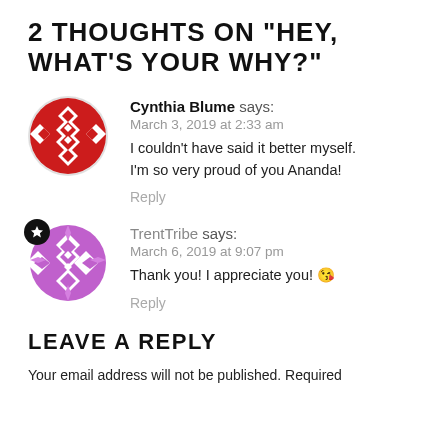2 THOUGHTS ON "HEY, WHAT'S YOUR WHY?"
Cynthia Blume says:
March 3, 2019 at 2:33 am
I couldn't have said it better myself. I'm so very proud of you Ananda!
Reply
TrentTribe says:
March 6, 2019 at 9:07 pm
Thank you! I appreciate you! 😘
Reply
LEAVE A REPLY
Your email address will not be published. Required